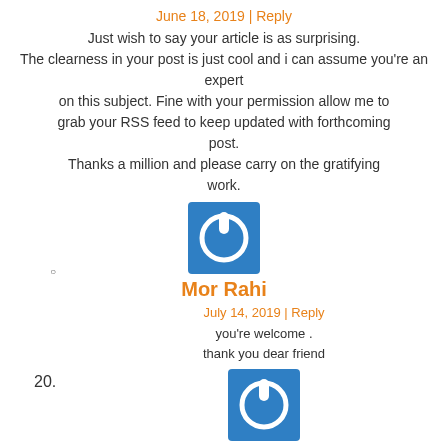June 18, 2019 | Reply
Just wish to say your article is as surprising. The clearness in your post is just cool and i can assume you're an expert on this subject. Fine with your permission allow me to grab your RSS feed to keep updated with forthcoming post. Thanks a million and please carry on the gratifying work.
[Figure (illustration): Blue square icon with white power button symbol]
Mor Rahi
July 14, 2019 | Reply
you're welcome . thank you dear friend
[Figure (illustration): Blue square icon with white power button symbol]
http://tinyurl.com
June 19, 2019 | Reply